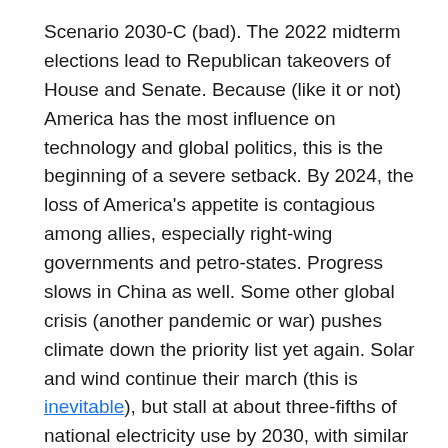Scenario 2030-C (bad). The 2022 midterm elections lead to Republican takeovers of House and Senate. Because (like it or not) America has the most influence on technology and global politics, this is the beginning of a severe setback. By 2024, the loss of America's appetite is contagious among allies, especially right-wing governments and petro-states. Progress slows in China as well. Some other global crisis (another pandemic or war) pushes climate down the priority list yet again. Solar and wind continue their march (this is inevitable), but stall at about three-fifths of national electricity use by 2030, with similar results globally. With the sole exceptions of the EU and Japan, electric vehicles are not